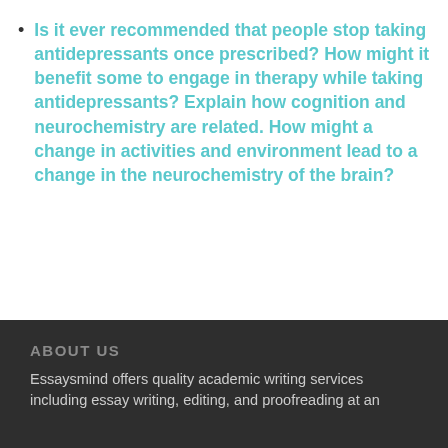Is it ever recommended that people stop taking antidepressants once prescribed? How might it benefit some to engage in therapy while taking antidepressants? Explain how cognition and neurochemistry are related. How might a change in activities and environment lead to a change in the neurochemistry of the brain?
ABOUT US
Essaysmind offers quality academic writing services including essay writing, editing, and proofreading at an